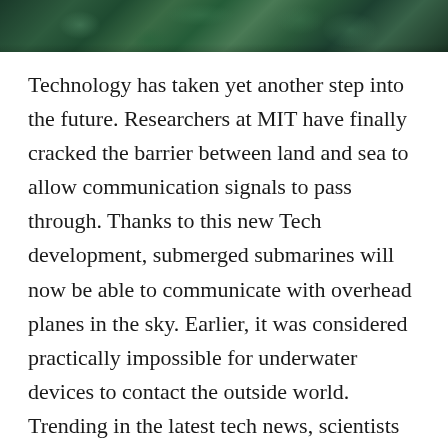[Figure (photo): Dark underwater scene showing coral or marine vegetation with teal/green tones at the top of the page]
Technology has taken yet another step into the future. Researchers at MIT have finally cracked the barrier between land and sea to allow communication signals to pass through. Thanks to this new Tech development, submerged submarines will now be able to communicate with overhead planes in the sky. Earlier, it was considered practically impossible for underwater devices to contact the outside world. Trending in the latest tech news, scientists have bridged the gap between radar and sonar waves, ushering in a revolution in wireless communication.